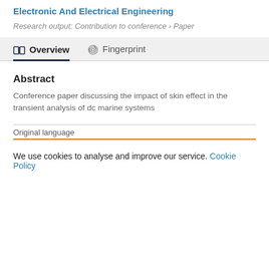Electronic And Electrical Engineering
Research output: Contribution to conference › Paper
Overview
Fingerprint
Abstract
Conference paper discussing the impact of skin effect in the transient analysis of dc marine systems
Original language
We use cookies to analyse and improve our service. Cookie Policy